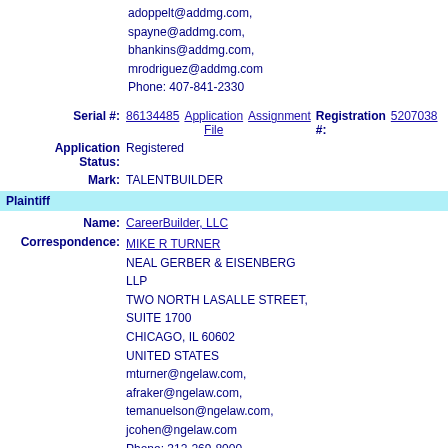adoppelt@addmg.com,
spayne@addmg.com,
bhankins@addmg.com,
mrodriguez@addmg.com
Phone: 407-841-2330
Serial #: 86134485 Application File Assignment Registration #: 5207038
Application Status: Registered
Mark: TALENTBUILDER
Plaintiff
Name: CareerBuilder, LLC
Correspondence: MIKE R TURNER
NEAL GERBER & EISENBERG LLP
TWO NORTH LASALLE STREET, SUITE 1700
CHICAGO, IL 60602
UNITED STATES
mturner@ngelaw.com,
afraker@ngelaw.com,
temanuelson@ngelaw.com,
jcohen@ngelaw.com
Phone: 312-269-8000
Serial #: 78190455 Application Assignment Registration #: 2823227